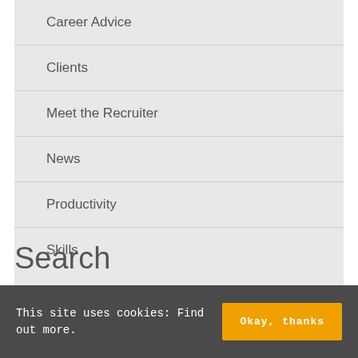Career Advice
Clients
Meet the Recruiter
News
Productivity
Skills
Search
This site uses cookies: Find out more.
Okay, thanks